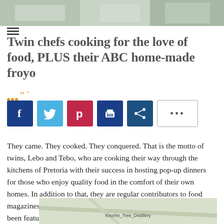[Figure (photo): Top banner image strip showing food/cooking scene]
Twin chefs cooking for the love of food, PLUS their ABC home-made froyo
[Figure (infographic): Social sharing buttons row: Facebook, Twitter, Pinterest, Print, Share, and a more (...) button]
They came. They cooked. They conquered. That is the motto of twins, Lebo and Tebo, who are cooking their way through the kitchens of Pretoria with their success in hosting pop-up dinners for those who enjoy quality food in the comfort of their own homes. In addition to that, they are regular contributors to food magazines, have cooked for the folks over at Top Billing and have been featured on The Gareth Cliff Show at cliffcentral.com.
[Figure (map): Partial map image at bottom of page]